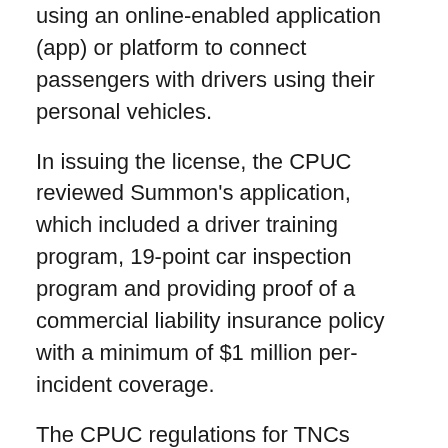using an online-enabled application (app) or platform to connect passengers with drivers using their personal vehicles.
In issuing the license, the CPUC reviewed Summon's application, which included a driver training program, 19-point car inspection program and providing proof of a commercial liability insurance policy with a minimum of $1 million per-incident coverage.
The CPUC regulations for TNCs include:
Obtain a license from the CPUC to operate in California.
Require each driver to undergo a criminal background check.
Establish a driver training program.
Implement a zero-tolerance drug and alcohol policy.